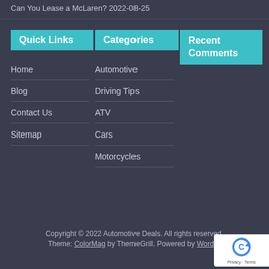Can You Lease a McLaren? 2022-08-25
Quick Links
Categories
Recent Comments
Home
Blog
Contact Us
Sitemap
Automotive
Driving Tips
ATV
Cars
Motorcycles
Copyright © 2022 Automotive Deals. All rights reserved. Theme: ColorMag by ThemeGrill. Powered by WordPress.